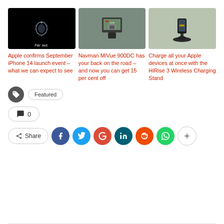[Figure (photo): Apple event promo with glowing Apple logo on black background, text 'Far out.']
[Figure (photo): Navman MiVue 900DC dashcam device showing rear camera view on screen]
[Figure (photo): HiRise 3 Wireless Charging Stand with iPhone and AirPods on dark table]
Apple confirms September iPhone 14 launch event – what we can expect to see
Navman MiVue 900DC has your back on the road – and now you can get 15 per cent off
Charge all your Apple devices at once with the HiRise 3 Wireless Charging Stand
Featured
0
Share